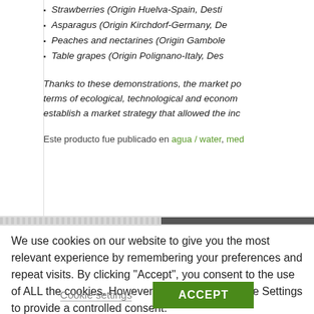Strawberries (Origin Huelva-Spain, Desti...
Asparagus (Origin Kirchdorf-Germany, De...
Peaches and nectarines (Origin Gambole...
Table grapes (Origin Polignano-Italy, Des...
Thanks to these demonstrations, the market po... terms of ecological, technological and econom... establish a market strategy that allowed the inc...
Este producto fue publicado en agua / water, med...
We use cookies on our website to give you the most relevant experience by remembering your preferences and repeat visits. By clicking “Accept”, you consent to the use of ALL the cookies. However you may visit Cookie Settings to provide a controlled consent.